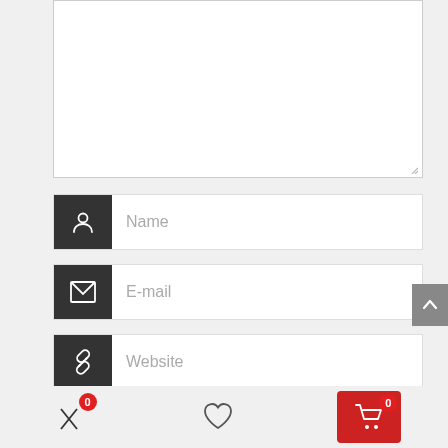[Figure (screenshot): Web form with textarea (comment box) and three input fields for Name, Email, and Website, each with a dark icon prefix. Below is a checkbox with label 'Save my name, email, and website in this'. A scroll-to-top button appears on the right. At the bottom is a mobile navigation bar with a shuffle icon (badge 0), a heart icon, and a red cart button (badge 0).]